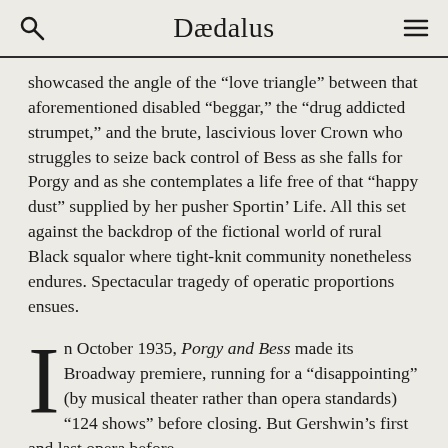Dædalus
showcased the angle of the “love triangle” between that aforementioned disabled “beggar,” the “drug addicted strumpet,” and the brute, lascivious lover Crown who struggles to seize back control of Bess as she falls for Porgy and as she contemplates a life free of that “happy dust” supplied by her pusher Sportin’ Life. All this set against the backdrop of the fictional world of rural Black squalor where tight-knit community nonetheless endures. Spectacular tragedy of operatic proportions ensues.
In October 1935, Porgy and Bess made its Broadway premiere, running for a “disappointing” (by musical theater rather than opera standards) “124 shows” before closing. But Gershwin’s first and last opera before